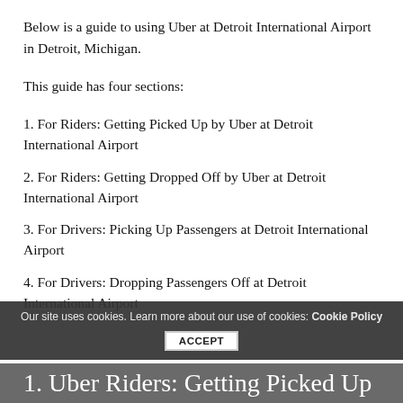Below is a guide to using Uber at Detroit International Airport in Detroit, Michigan.
This guide has four sections:
1. For Riders: Getting Picked Up by Uber at Detroit International Airport
2. For Riders: Getting Dropped Off by Uber at Detroit International Airport
3. For Drivers: Picking Up Passengers at Detroit International Airport
4. For Drivers: Dropping Passengers Off at Detroit International Airport
Our site uses cookies. Learn more about our use of cookies: Cookie Policy ACCEPT
1. Uber Riders: Getting Picked Up